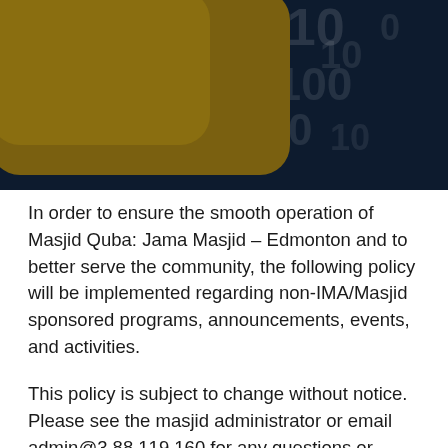[Figure (illustration): Header image with a dark navy blue background with faint binary/digit pattern, and a gold/olive rounded rectangle shape on the left side.]
In order to ensure the smooth operation of Masjid Quba: Jama Masjid – Edmonton and to better serve the community, the following policy will be implemented regarding non-IMA/Masjid sponsored programs, announcements, events, and activities.
This policy is subject to change without notice. Please see the masjid administrator or email admin@3.88.119.160 for any questions or